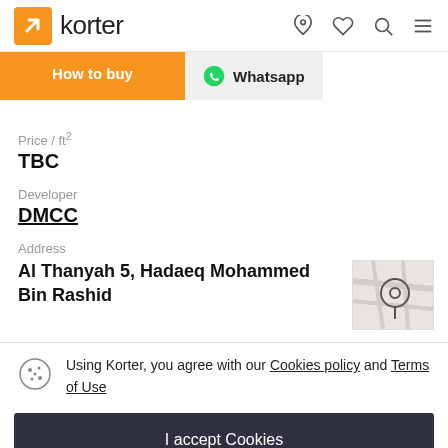korter
How to buy
Whatsapp
Price / ft²
TBC
Developer
DMCC
Address
Al Thanyah 5, Hadaeq Mohammed Bin Rashid
[Figure (map): Small map thumbnail with location pin marker]
Using Korter, you agree with our Cookies policy and Terms of Use
I accept Cookies